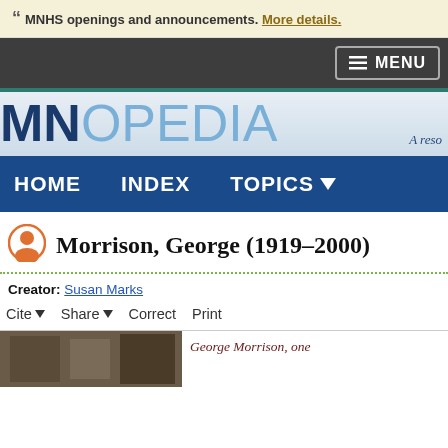MNHS openings and announcements. More details.
[Figure (screenshot): Dark navigation bar with MENU button]
[Figure (logo): MNOpedia logo with tagline 'A reso...']
[Figure (screenshot): Blue navigation bar with HOME, INDEX, TOPICS menu items]
Morrison, George (1919–2000)
Creator: Susan Marks
Cite ▾   Share ▾   Correct   Print
George Morrison, one...